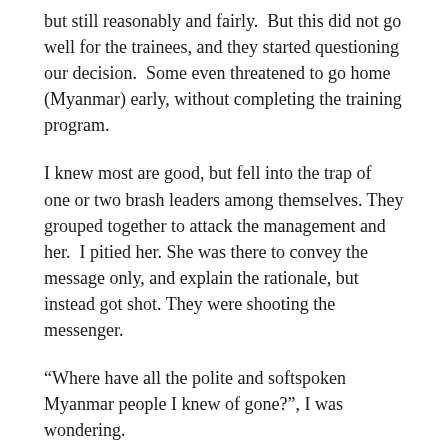but still reasonably and fairly.  But this did not go well for the trainees, and they started questioning our decision.  Some even threatened to go home (Myanmar) early, without completing the training program.
I knew most are good, but fell into the trap of  one or two brash leaders among themselves. They grouped together to attack the management and her.  I pitied her. She was there to convey the message only, and explain the rationale, but instead got shot. They were shooting the messenger.
“Where have all the polite and softspoken Myanmar people I knew of gone?”, I was wondering.